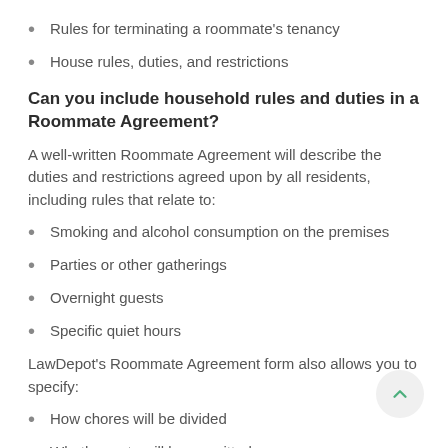Rules for terminating a roommate's tenancy
House rules, duties, and restrictions
Can you include household rules and duties in a Roommate Agreement?
A well-written Roommate Agreement will describe the duties and restrictions agreed upon by all residents, including rules that relate to:
Smoking and alcohol consumption on the premises
Parties or other gatherings
Overnight guests
Specific quiet hours
LawDepot's Roommate Agreement form also allows you to specify:
How chores will be divided
Whether pets will be permitted
How parking space(s) will be handled
What is considered personal property